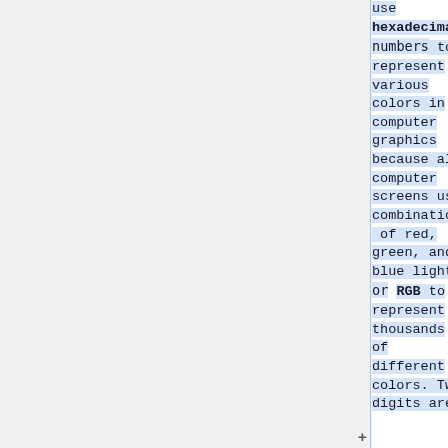use hexadecimal numbers to represent various colors in computer graphics because all computer screens use combinations of red, green, and blue light or RGB to represent thousands of different colors. Two digits are